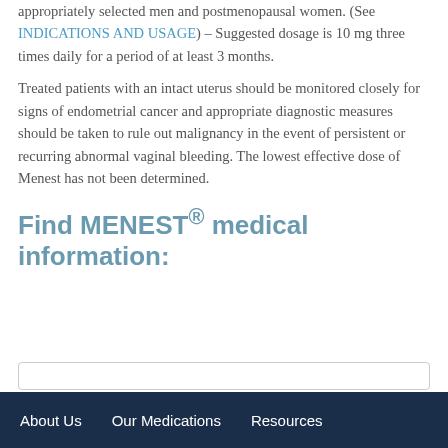appropriately selected men and postmenopausal women. (See INDICATIONS AND USAGE) – Suggested dosage is 10 mg three times daily for a period of at least 3 months.
Treated patients with an intact uterus should be monitored closely for signs of endometrial cancer and appropriate diagnostic measures should be taken to rule out malignancy in the event of persistent or recurring abnormal vaginal bleeding. The lowest effective dose of Menest has not been determined.
Find MENEST® medical information:
About Us   Our Medications   Resources